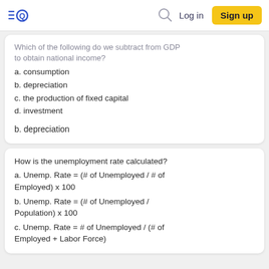EQ | Log in | Sign up
Which of the following do we subtract from GDP to obtain national income?
a. consumption
b. depreciation
c. the production of fixed capital
d. investment
b. depreciation
How is the unemployment rate calculated?
a. Unemp. Rate = (# of Unemployed / # of Employed) x 100
b. Unemp. Rate = (# of Unemployed / Population) x 100
c. Unemp. Rate = # of Unemployed / (# of Employed + Labor Force)